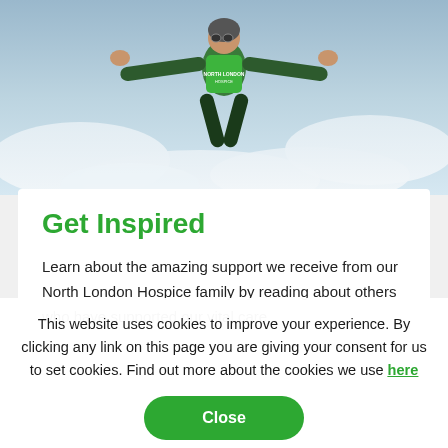[Figure (photo): Person in a green charity vest skydiving against a cloudy sky background, viewed from below]
Get Inspired
Learn about the amazing support we receive from our North London Hospice family by reading about others who have supported our vital care.
This website uses cookies to improve your experience. By clicking any link on this page you are giving your consent for us to set cookies. Find out more about the cookies we use here
Close